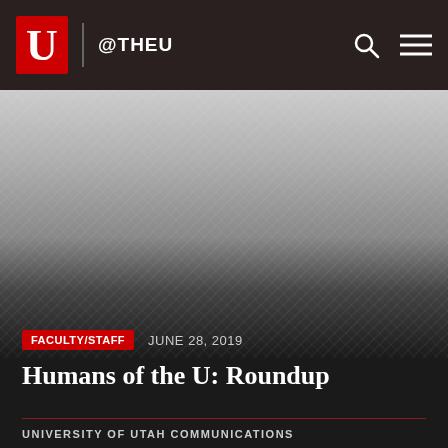@THEU
[Figure (photo): Hero image with crosshatch pattern, fading from light gray at top to dark at bottom]
FACULTY/STAFF   JUNE 28, 2019
Humans of the U: Roundup
UNIVERSITY OF UTAH COMMUNICATIONS